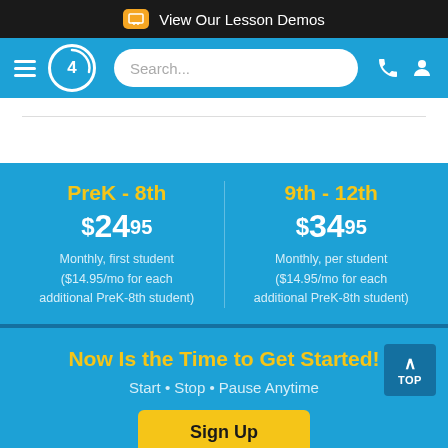View Our Lesson Demos
[Figure (screenshot): Blue navigation bar with hamburger menu, logo with '4', search box, phone icon, and user icon]
PreK - 8th
$2495
Monthly, first student ($14.95/mo for each additional PreK-8th student)
9th - 12th
$3495
Monthly, per student ($14.95/mo for each additional PreK-8th student)
Now Is the Time to Get Started!
Start • Stop • Pause Anytime
Sign Up